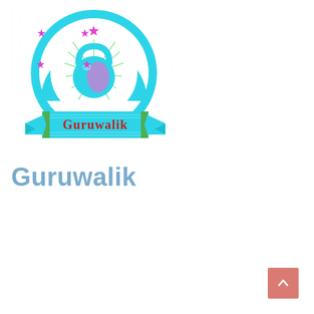[Figure (logo): Guruwalik fitness/kettlebell logo: a teal circular badge with a kettlebell at center, pink/magenta stars around it, and a decorative banner with 'Guruwalik' written in red text on a teal ribbon background with green ribbon ends.]
Guruwalik
[Figure (other): A salmon/terracotta colored square button with a white upward-pointing chevron/caret arrow, positioned in the bottom-right corner (back-to-top button).]